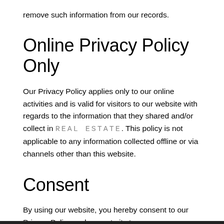remove such information from our records.
Online Privacy Policy Only
Our Privacy Policy applies only to our online activities and is valid for visitors to our website with regards to the information that they shared and/or collect in REAL ESTATE. This policy is not applicable to any information collected offline or via channels other than this website.
Consent
By using our website, you hereby consent to our Privacy Policy and agree to its terms.